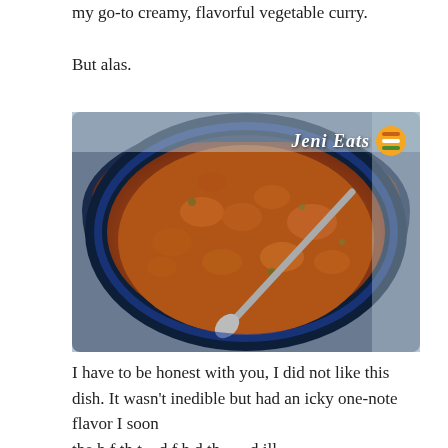my go-to creamy, flavorful vegetable curry.
But alas.
[Figure (photo): A blue bowl filled with vegetable curry featuring chunks of vegetables in a thick orange-brown sauce, with a spoon visible in the bowl. A watermark reading 'Jeni Eats' with a burger icon is in the top right corner.]
I have to be honest with you, I did not like this dish. It wasn't inedible but had an icky one-note flavor I soon the h f th t d f h d th d ill